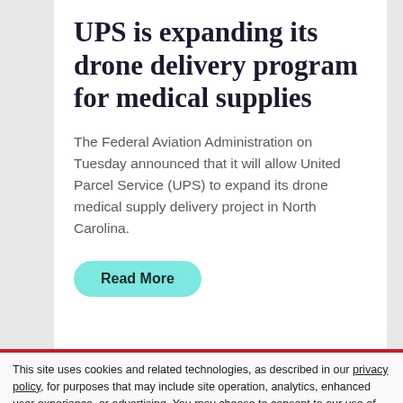UPS is expanding its drone delivery program for medical supplies
The Federal Aviation Administration on Tuesday announced that it will allow United Parcel Service (UPS) to expand its drone medical supply delivery project in North Carolina.
Read More
This site uses cookies and related technologies, as described in our privacy policy, for purposes that may include site operation, analytics, enhanced user experience, or advertising. You may choose to consent to our use of these technologies, or manage your own preferences.
Manage Preferences
Accept All